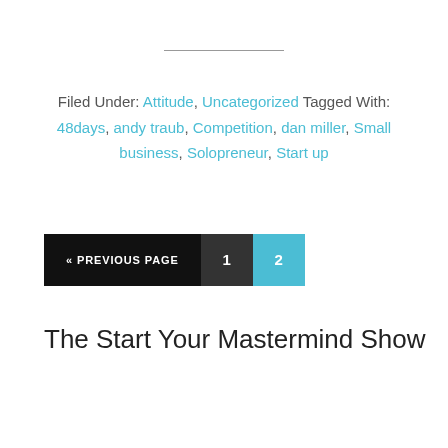Filed Under: Attitude, Uncategorized Tagged With: 48days, andy traub, Competition, dan miller, Small business, Solopreneur, Start up
« PREVIOUS PAGE  1  2
The Start Your Mastermind Show